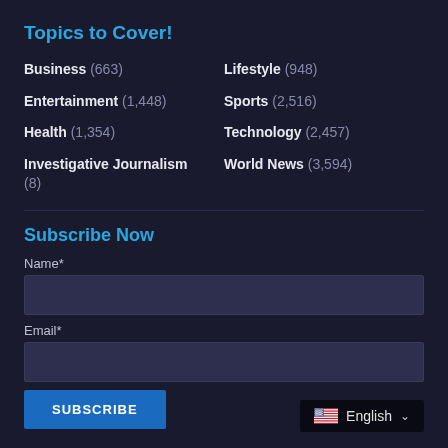Topics to Cover!
Business (663)
Lifestyle (948)
Entertainment (1,448)
Sports (2,516)
Health (1,354)
Technology (2,457)
Investigative Journalism (8)
World News (3,594)
Subscribe Now
Name*
Email*
SUBSCRIBE
English